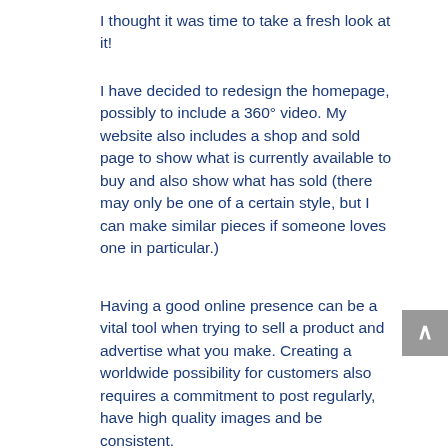I thought it was time to take a fresh look at it!
I have decided to redesign the homepage, possibly to include a 360° video. My website also includes a shop and sold page to show what is currently available to buy and also show what has sold (there may only be one of a certain style, but I can make similar pieces if someone loves one in particular.)
Having a good online presence can be a vital tool when trying to sell a product and advertise what you make. Creating a worldwide possibility for customers also requires a commitment to post regularly, have high quality images and be consistent.